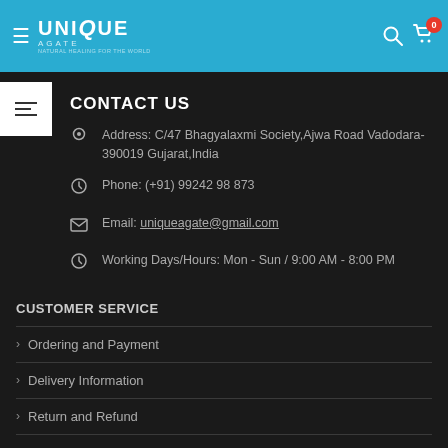[Figure (logo): Unique Agate logo with hamburger menu on teal/blue header bar with search and cart icons]
CONTACT US
Address: C/47 Bhagyalaxmi Society,Ajwa Road Vadodara-390019 Gujarat,India
Phone: (+91) 99242 98 873
Email: uniqueagate@gmail.com
Working Days/Hours: Mon - Sun / 9:00 AM - 8:00 PM
CUSTOMER SERVICE
Ordering and Payment
Delivery Information
Return and Refund
Terms-Condition